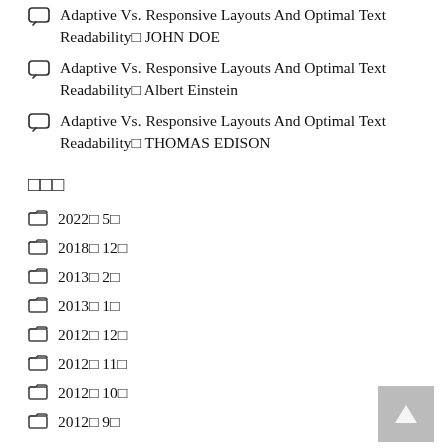Adaptive Vs. Responsive Layouts And Optimal Text Readability□ JOHN DOE
Adaptive Vs. Responsive Layouts And Optimal Text Readability□ Albert Einstein
Adaptive Vs. Responsive Layouts And Optimal Text Readability□ THOMAS EDISON
□□□
2022□ 5□
2018□ 12□
2013□ 2□
2013□ 1□
2012□ 12□
2012□ 11□
2012□ 10□
2012□ 9□